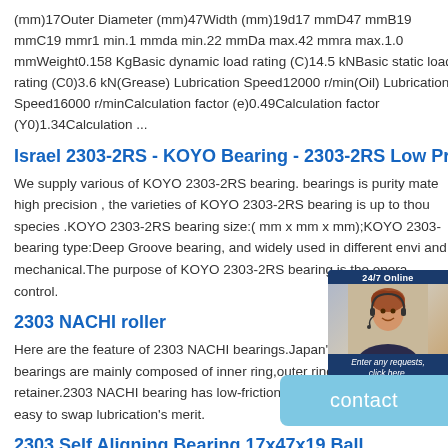(mm)17Outer Diameter (mm)47Width (mm)19d17 mmD47 mmB19 mmC19 mmr1 min.1 mmda min.22 mmDa max.42 mmra max.1.0 mmWeight0.158 KgBasic dynamic load rating (C)14.5 kNBasic static load rating (C0)3.6 kN(Grease) Lubrication Speed12000 r/min(Oil) Lubrication Speed16000 r/minCalculation factor (e)0.49Calculation factor (Y0)1.34Calculation ...
Israel 2303-2RS - KOYO Bearing - 2303-2RS Low Price
We supply various of KOYO 2303-2RS bearing. bearings is purity mate high precision , the varieties of KOYO 2303-2RS bearing is up to thou species .KOYO 2303-2RS bearing size:( mm x mm x mm);KOYO 2303- bearing type:Deep Groove bearing, and widely used in different envi and mechanical.The purpose of KOYO 2303-2RS bearing is the opera control.
[Figure (photo): Customer service chat widget with woman wearing headset, 24/7 Online label, Enter any requests click here text, and Quotation button]
2303 NACHI roller
Here are the feature of 2303 NACHI bearings.Japan's 2303 NACHI bearings are mainly composed of inner ring,outer ring,rolling element and retainer.2303 NACHI bearing has low-friction, high efficiency, simple and easy to swap lubrication's merit.
2303 Self Aligning Bearing 17x47x19 Ball
2303 Self Aligning Ball Bearing has a spherical outer ring raceway, the balls and cage continue to rotate, this type of bearings is suitable when the
[Figure (screenshot): Contact button overlay in light blue color]